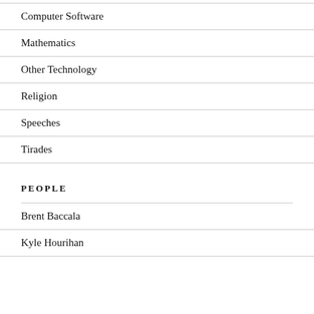Computer Software
Mathematics
Other Technology
Religion
Speeches
Tirades
PEOPLE
Brent Baccala
Kyle Hourihan